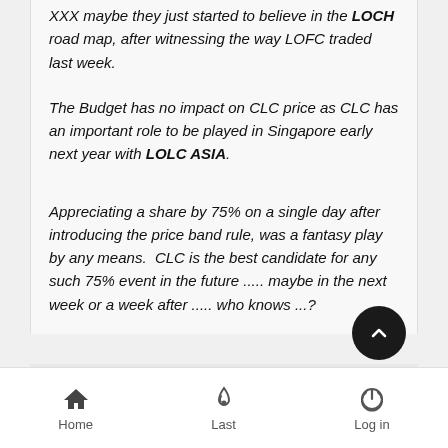XXX maybe they just started to believe in the LOCH road map, after witnessing the way LOFC traded last week.
The Budget has no impact on CLC price as CLC has an important role to be played in Singapore early next year with LOLC ASIA.
Appreciating a share by 75% on a single day after introducing the price band rule, was a fantasy play by any means.  CLC is the best candidate for any such 75% event in the future ..... maybe in the next week or a week after ..... who knows ...?
Home  Last  Log in